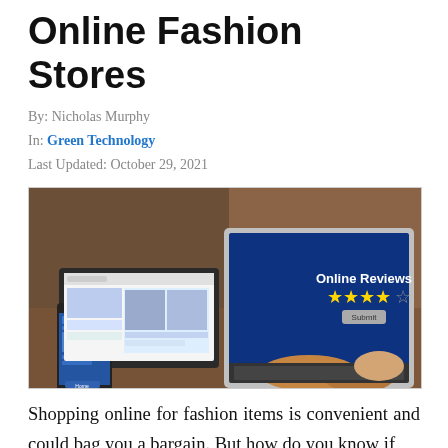Online Fashion Stores
By: Nicholas Murphy
In: Green Technology
Last Updated: October 29, 2021
[Figure (photo): Person typing on laptop with 'Online Reviews' and star rating on laptop screen, and a phone showing a fashion shopping website on the desk beside it.]
Shopping online for fashion items is convenient and could bag you a bargain. But how do you know if